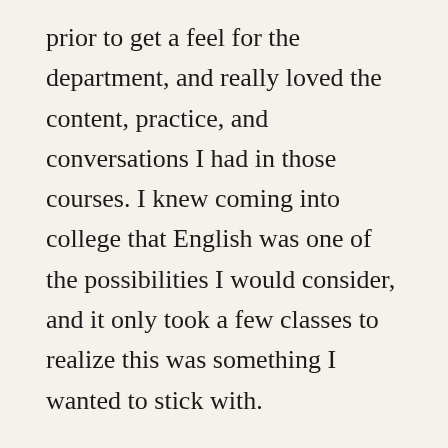prior to get a feel for the department, and really loved the content, practice, and conversations I had in those courses. I knew coming into college that English was one of the possibilities I would consider, and it only took a few classes to realize this was something I wanted to stick with.
How has your English major impacted your worldview? How has it shaped you? I think in a lot of ways my English